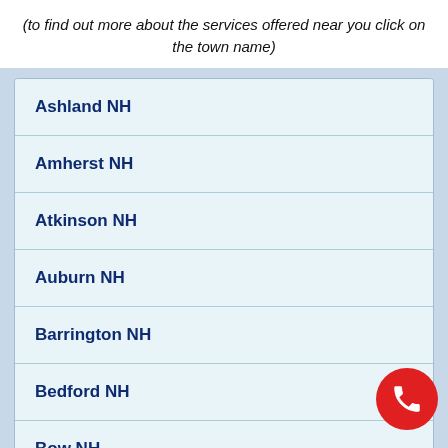(to find out more about the services offered near you click on the town name)
Ashland NH
Amherst NH
Atkinson NH
Auburn NH
Barrington NH
Bedford NH
Bow NH